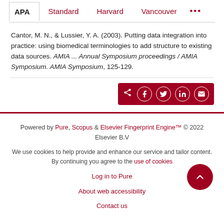APA | Standard | Harvard | Vancouver | ...
Cantor, M. N., & Lussier, Y. A. (2003). Putting data integration into practice: using biomedical terminologies to add structure to existing data sources. AMIA ... Annual Symposium proceedings / AMIA Symposium. AMIA Symposium, 125-129.
[Figure (other): Share button group with icons for share, Facebook, Twitter, LinkedIn, and email on a dark red background]
Powered by Pure, Scopus & Elsevier Fingerprint Engine™ © 2022 Elsevier B.V
We use cookies to help provide and enhance our service and tailor content. By continuing you agree to the use of cookies
Log in to Pure
About web accessibility
Contact us